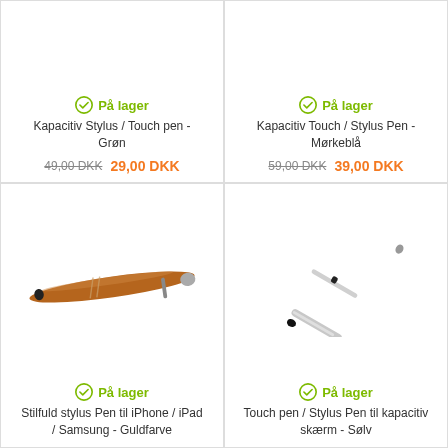[Figure (photo): Kapacitiv Stylus / Touch pen - Grøn product listing (top, partial)]
[Figure (photo): Kapacitiv Touch / Stylus Pen - Mørkeblå product listing (top, partial)]
[Figure (photo): Stilfuld stylus Pen til iPhone / iPad / Samsung - Guldfarve, brown/gold stylus pen photo]
[Figure (photo): Touch pen / Stylus Pen til kapacitiv skærm - Sølv, silver stylus pen photo]